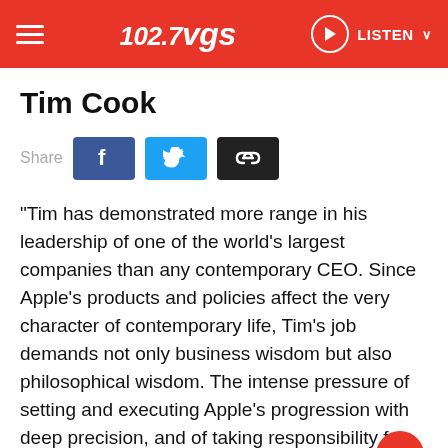102.7 VGS — LISTEN
Tim Cook
[Figure (infographic): Share buttons row with Facebook (blue), Twitter (light blue), and link (black) icons]
"Tim has demonstrated more range in his leadership of one of the world's largest companies than any contemporary CEO. Since Apple's products and policies affect the very character of contemporary life, Tim's job demands not only business wisdom but also philosophical wisdom. The intense pressure of setting and executing Apple's progression with deep precision, and of taking responsibility for the company's effects on